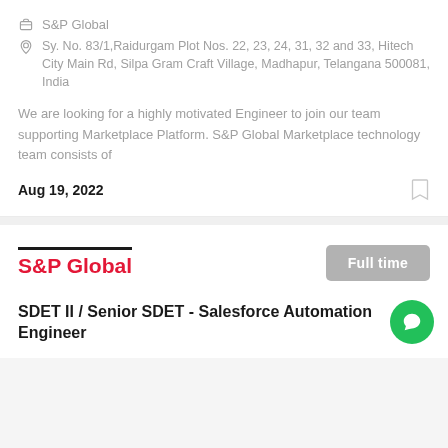S&P Global
Sy. No. 83/1,Raidurgam Plot Nos. 22, 23, 24, 31, 32 and 33, Hitech City Main Rd, Silpa Gram Craft Village, Madhapur, Telangana 500081, India
We are looking for a highly motivated Engineer to join our team supporting Marketplace Platform. S&P Global Marketplace technology team consists of
Aug 19, 2022
[Figure (logo): S&P Global company logo in red text with black top border]
Full time
SDET II / Senior SDET - Salesforce Automation Engineer